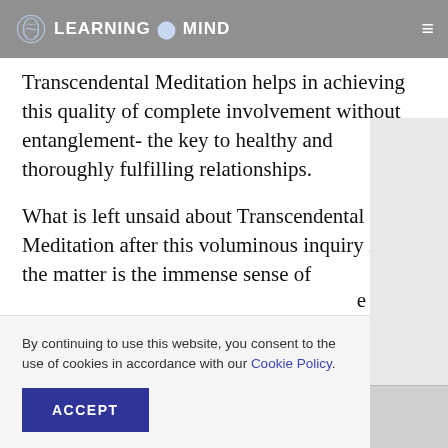LEARNING MIND
Transcendental Meditation helps in achieving this quality of complete involvement without entanglement- the key to healthy and thoroughly fulfilling relationships.
What is left unsaid about Transcendental Meditation after this voluminous inquiry into the matter is the immense sense of
By continuing to use this website, you consent to the use of cookies in accordance with our Cookie Policy.
ACCEPT